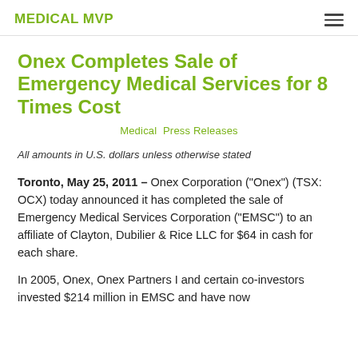MEDICAL MVP
Onex Completes Sale of Emergency Medical Services for 8 Times Cost
Medical  Press Releases
All amounts in U.S. dollars unless otherwise stated
Toronto, May 25, 2011 – Onex Corporation ("Onex") (TSX: OCX) today announced it has completed the sale of Emergency Medical Services Corporation ("EMSC") to an affiliate of Clayton, Dubilier & Rice LLC for $64 in cash for each share.
In 2005, Onex, Onex Partners I and certain co-investors invested $214 million in EMSC and have now